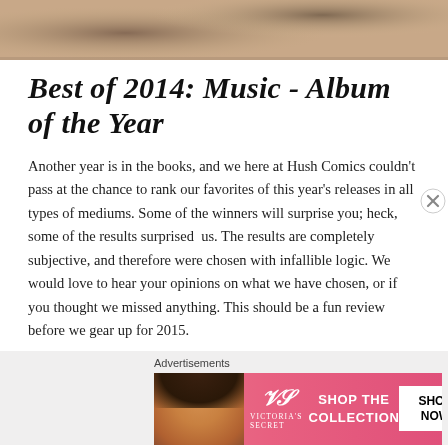[Figure (photo): Sepia/brown toned photograph at the top of the page, partially visible, showing what appears to be a person or musical subject]
Best of 2014: Music - Album of the Year
Another year is in the books, and we here at Hush Comics couldn't pass at the chance to rank our favorites of this year's releases in all types of mediums. Some of the winners will surprise you; heck, some of the results surprised  us. The results are completely subjective, and therefore were chosen with infallible logic. We would love to hear your opinions on what we have chosen, or if you thought we missed anything. This should be a fun review before we gear up for 2015.
Advertisements
[Figure (photo): Victoria's Secret advertisement banner with pink background, model on left, VS logo in center, 'SHOP THE COLLECTION' text and 'SHOP NOW' button on right]